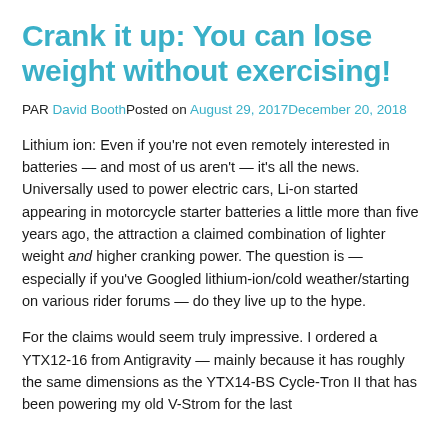Crank it up: You can lose weight without exercising!
PAR David Booth Posted on August 29, 2017 December 20, 2018
Lithium ion: Even if you're not even remotely interested in batteries — and most of us aren't — it's all the news. Universally used to power electric cars, Li-on started appearing in motorcycle starter batteries a little more than five years ago, the attraction a claimed combination of lighter weight and higher cranking power. The question is — especially if you've Googled lithium-ion/cold weather/starting on various rider forums — do they live up to the hype.
For the claims would seem truly impressive. I ordered a YTX12-16 from Antigravity — mainly because it has roughly the same dimensions as the YTX14-BS Cycle-Tron II that has been powering my old V-Strom for the last...